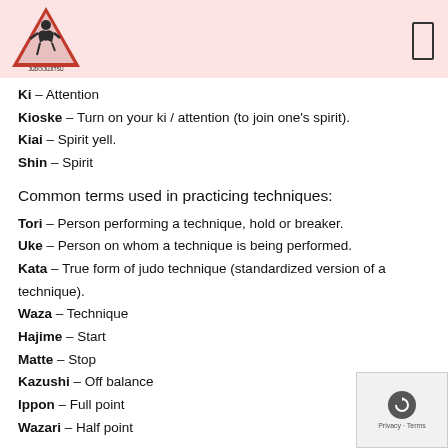[Figure (logo): Medford Judo Academy logo: red triangle with judo figure, text JUDO/JUJITSU at bottom]
Ki – Attention
Kioske – Turn on your ki / attention (to join one's spirit).
Kiai – Spirit yell.
Shin – Spirit
Common terms used in practicing techniques:
Tori – Person performing a technique, hold or breaker.
Uke – Person on whom a technique is being performed.
Kata – True form of judo technique (standardized version of a technique).
Waza – Technique
Hajime – Start
Matte – Stop
Kazushi – Off balance
Ippon – Full point
Wazari – Half point